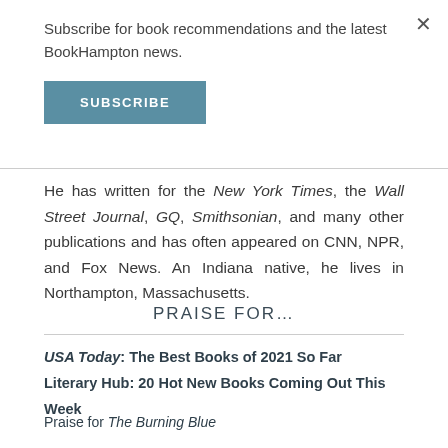Subscribe for book recommendations and the latest BookHampton news.
SUBSCRIBE
He has written for the New York Times, the Wall Street Journal, GQ, Smithsonian, and many other publications and has often appeared on CNN, NPR, and Fox News. An Indiana native, he lives in Northampton, Massachusetts.
PRAISE FOR…
USA Today: The Best Books of 2021 So Far
Literary Hub: 20 Hot New Books Coming Out This Week
Praise for The Burning Blue